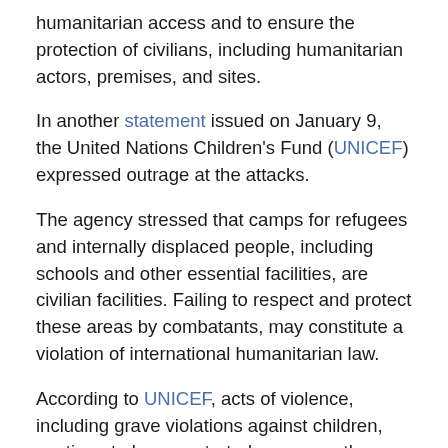humanitarian access and to ensure the protection of civilians, including humanitarian actors, premises, and sites.
In another statement issued on January 9, the United Nations Children's Fund (UNICEF) expressed outrage at the attacks.
The agency stressed that camps for refugees and internally displaced people, including schools and other essential facilities, are civilian facilities. Failing to respect and protect these areas by combatants, may constitute a violation of international humanitarian law.
According to UNICEF, acts of violence, including grave violations against children, continue to be perpetrated across northern Ethiopia by all parties to the conflict.
It has now been 14 months since clashes erupted between Federal Government troops and forces loyal to the Tigrayan People's Liberation Front.